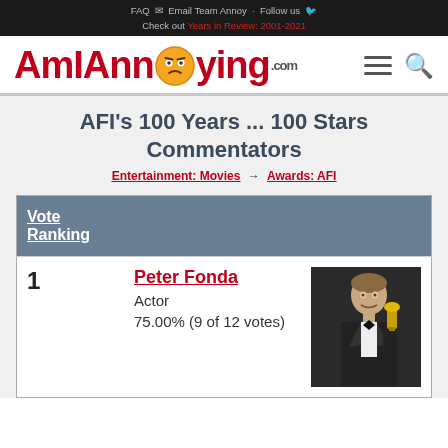FAQ  Email Team Annoy  Follow us
Check out Years in Review: 2001-2021
[Figure (logo): AmlAnnoying.com logo with orange emoji face, red text, hamburger menu and search icon]
AFI's 100 Years ... 100 Stars Commentators
Entertainment: Movies → Awards: AFI
| Vote Ranking |  |  |
| --- | --- | --- |
| 1 | Peter Fonda
Actor
75.00% (9 of 12 votes) | [photo] |